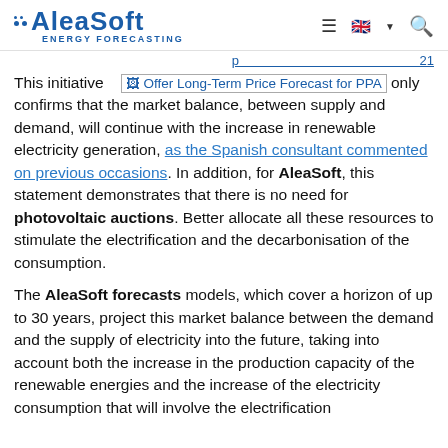AleaSoft ENERGY FORECASTING
This initiative [Offer Long-Term Price Forecast for PPA] only confirms that the market balance, between supply and demand, will continue with the increase in renewable electricity generation, as the Spanish consultant commented on previous occasions. In addition, for AleaSoft, this statement demonstrates that there is no need for photovoltaic auctions. Better allocate all these resources to stimulate the electrification and the decarbonisation of the consumption.
The AleaSoft forecasts models, which cover a horizon of up to 30 years, project this market balance between the demand and the supply of electricity into the future, taking into account both the increase in the production capacity of the renewable energies and the increase of the electricity consumption that will involve the electrification